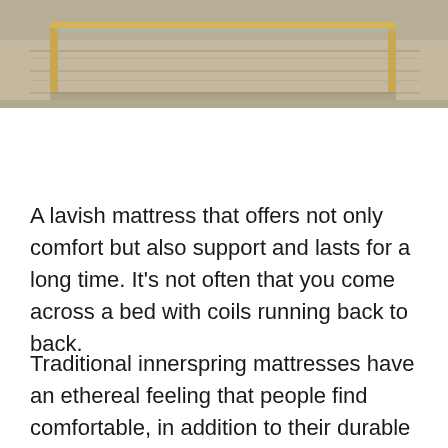[Figure (photo): Partial view of a bed frame with gold/brass metallic legs and a mattress with a textured rug or floor visible below]
A lavish mattress that offers not only comfort but also support and lasts for a long time. It’s not often that you come across a bed with coils running back to back.
Traditional innerspring mattresses have an ethereal feeling that people find comfortable, in addition to their durable construction.